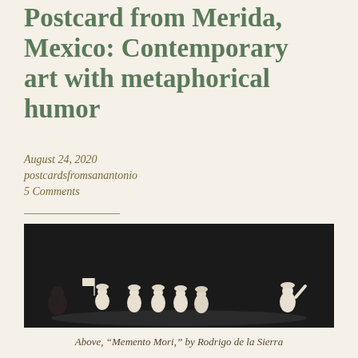Postcard from Merida, Mexico: Contemporary art with metaphorical humor
August 24, 2020
postcardsfromsanantonio
5 Comments
[Figure (photo): A dark-background photograph showing ceramic figurines: a dark crouching figure on the left, followed by a row of white figurines marching, one carrying a white flag, and a separate white figurine on the right with arm raised.]
Above, “Memento Mori,” by Rodrigo de la Sierra